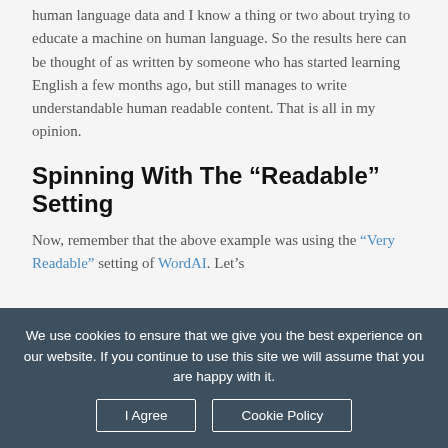human language data and I know a thing or two about trying to educate a machine on human language. So the results here can be thought of as written by someone who has started learning English a few months ago, but still manages to write understandable human readable content. That is all in my opinion.
Spinning With The “Readable” Setting
Now, remember that the above example was using the “Very Readable” setting of WordAI. Let’s
We use cookies to ensure that we give you the best experience on our website. If you continue to use this site we will assume that you are happy with it.